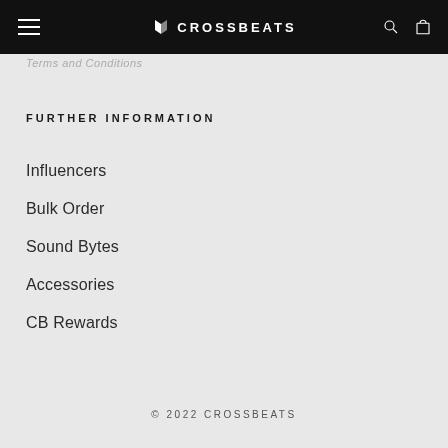CROSSBEATS
Terms and Conditions
FURTHER INFORMATION
Influencers
Bulk Order
Sound Bytes
Accessories
CB Rewards
© 2022 CROSSBEATS